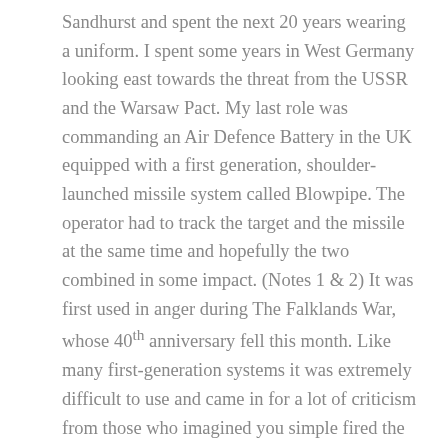Sandhurst and spent the next 20 years wearing a uniform. I spent some years in West Germany looking east towards the threat from the USSR and the Warsaw Pact. My last role was commanding an Air Defence Battery in the UK equipped with a first generation, shoulder-launched missile system called Blowpipe. The operator had to track the target and the missile at the same time and hopefully the two combined in some impact. (Notes 1 & 2) It was first used in anger during The Falklands War, whose 40th anniversary fell this month. Like many first-generation systems it was extremely difficult to use and came in for a lot of criticism from those who imagined you simple fired the missile at a target and got a hit. (Note 3) Records suggest its operators succeeded in bring down 5 aircraft.